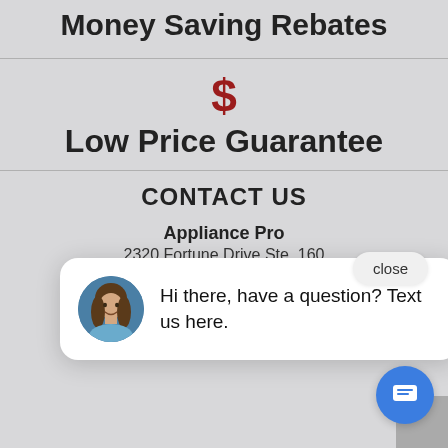Money Saving Rebates
Low Price Guarantee
CONTACT US
Appliance Pro
2320 Fortune Drive Ste. 160
[Figure (other): Chat popup with woman avatar and text: Hi there, have a question? Text us here. Close button and blue chat icon button visible.]
HOURS
Today's Hours: 10:00 AM - 6:00 PM
CUSTOMER SERVICE